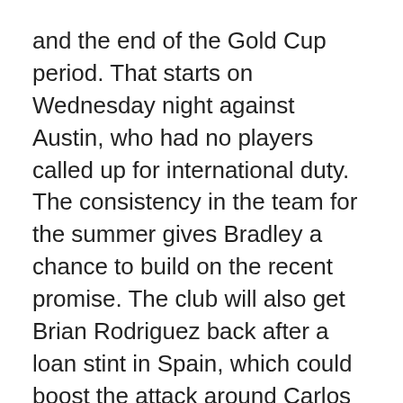and the end of the Gold Cup period. That starts on Wednesday night against Austin, who had no players called up for international duty. The consistency in the team for the summer gives Bradley a chance to build on the recent promise. The club will also get Brian Rodriguez back after a loan stint in Spain, which could boost the attack around Carlos Vela and Diego Rossi.
The Red Bulls' steady climb into the playoff picture in the Eastern Conference has come despite injury problems across the team. Aaron Long won't be back this season, but several players with smaller injuries that have missed games in recent weeks should be at full strength before the Gold Cup...